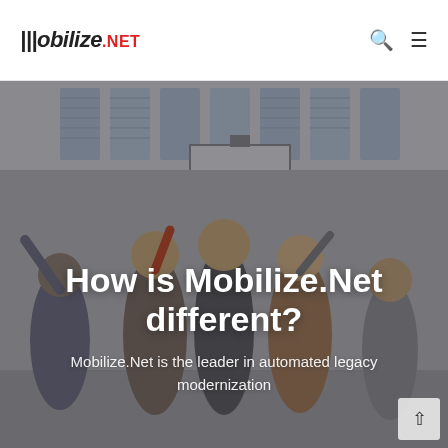[Figure (logo): Mobilize.Net logo with italic text and red .NET suffix, plus search and hamburger menu icons in the header]
[Figure (photo): Group of happy people in an office/meeting room setting, arms raised, celebrating, with a projection screen in background. Used as a hero banner image.]
How is Mobilize.Net different?
Mobilize.Net is the leader in automated legacy modernization